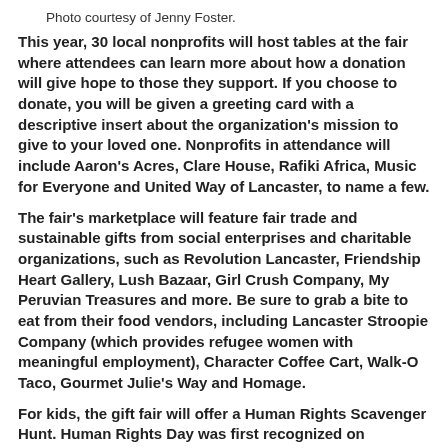Photo courtesy of Jenny Foster.
This year, 30 local nonprofits will host tables at the fair where attendees can learn more about how a donation will give hope to those they support. If you choose to donate, you will be given a greeting card with a descriptive insert about the organization's mission to give to your loved one. Nonprofits in attendance will include Aaron's Acres, Clare House, Rafiki Africa, Music for Everyone and United Way of Lancaster, to name a few.
The fair's marketplace will feature fair trade and sustainable gifts from social enterprises and charitable organizations, such as Revolution Lancaster, Friendship Heart Gallery, Lush Bazaar, Girl Crush Company, My Peruvian Treasures and more. Be sure to grab a bite to eat from their food vendors, including Lancaster Stroopie Company (which provides refugee women with meaningful employment), Character Coffee Cart, Walk-O Taco, Gourmet Julie's Way and Homage.
For kids, the gift fair will offer a Human Rights Scavenger Hunt. Human Rights Day was first recognized on